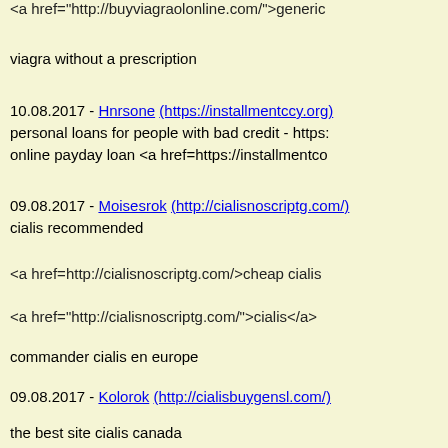<a href="http://buyviagraolonline.com/">generic
viagra without a prescription
10.08.2017 - Hnrsone (https://installmentccy.org) personal loans for people with bad credit - https: online payday loan <a href=https://installmentco
09.08.2017 - Moisesrok (http://cialisnoscriptg.com/) cialis recommended
<a href=http://cialisnoscriptg.com/>cheap cialis
<a href="http://cialisnoscriptg.com/">cialis</a>
commander cialis en europe
09.08.2017 - Kolorok (http://cialisbuygensl.com/) the best site cialis canada
<a href=http://cialisbuygensl.com/>cialis canada
<a href="http://cialisbuygensl.com/">cialis</a>
cialis shop berli
09.08.2017 - Yiksirok (http://buyviagraolonline.com